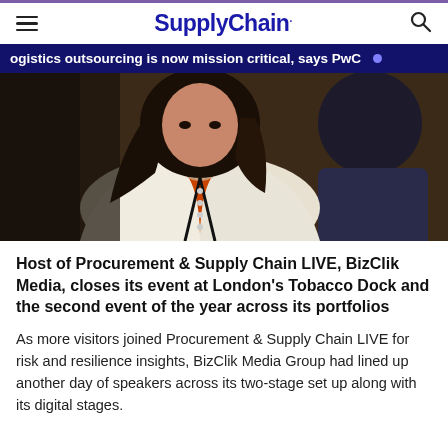SupplyChain.
logistics outsourcing is now mission critical, says PwC
[Figure (photo): A woman with long dark hair, wearing a white blazer over an orange top with a lanyard, speaking with someone at what appears to be a conference event.]
Host of Procurement & Supply Chain LIVE, BizClik Media, closes its event at London's Tobacco Dock and the second event of the year across its portfolios
As more visitors joined Procurement & Supply Chain LIVE for risk and resilience insights, BizClik Media Group had lined up another day of speakers across its two-stage set up along with its digital stages.